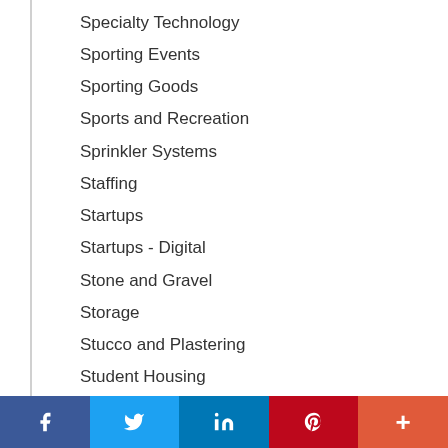Specialty Technology
Sporting Events
Sporting Goods
Sports and Recreation
Sprinkler Systems
Staffing
Startups
Startups - Digital
Stone and Gravel
Storage
Stucco and Plastering
Student Housing
Stump Removal
Sunrooms